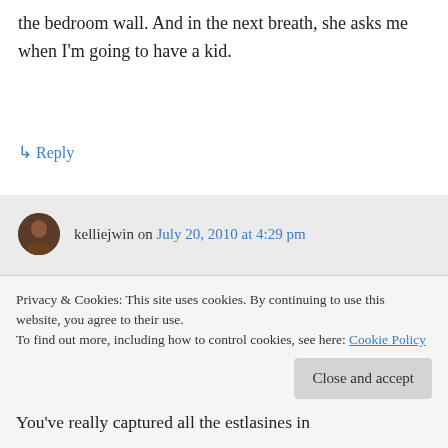the bedroom wall. And in the next breath, she asks me when I'm going to have a kid.
↳ Reply
kelliejwin on July 20, 2010 at 4:29 pm
There are ups and downs but if you truly want children – it's all worth it! Don't rush the decision.
Privacy & Cookies: This site uses cookies. By continuing to use this website, you agree to their use.
To find out more, including how to control cookies, see here: Cookie Policy
Close and accept
You've really captured all the estlasines in